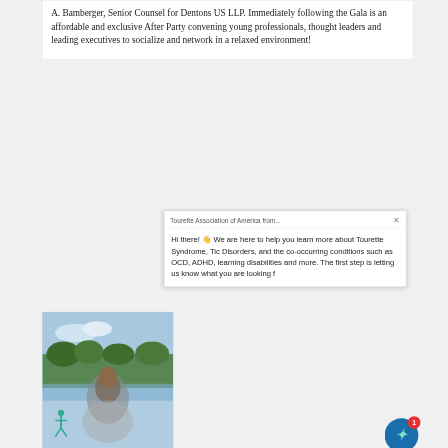A. Bamberger, Senior Counsel for Dentons US LLP. Immediately following the Gala is an affordable and exclusive After Party convening young professionals, thought leaders and leading executives to socialize and network in a relaxed environment!
Tourette Association of America from...
Hi there! 👋 We are here to help you learn more about Tourette Syndrome, Tic Disorders, and the co-occurring conditions such as OCD, ADHD, learning disabilities and more. The first step is letting us know what you are looking f
[Figure (photo): Photo of a person outdoors near water with trees in background, with a teal/green logo of a person figure visible in the lower left area of the photo.]